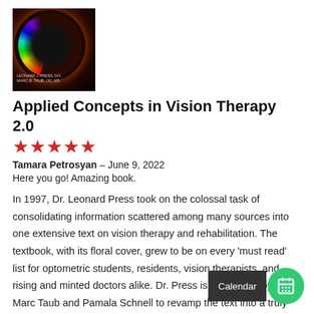[Figure (photo): Book cover for Applied Concepts in Vision Therapy 2.0, dark background with rainbow arc and eclipse glow effect, author names visible at bottom]
Applied Concepts in Vision Therapy 2.0
★★★★★
Tamara Petrosyan – June 9, 2022
Here you go! Amazing book.
In 1997, Dr. Leonard Press took on the colossal task of consolidating information scattered among many sources into one extensive text on vision therapy and rehabilitation. The textbook, with its floral cover, grew to be on every 'must read' list for optometric students, residents, vision therapists, and rising and minted doctors alike. Dr. Press is now joined by Drs. Marc Taub and Pamala Schnell to revamp the text into a truly comprehensive reference. While a considerable amount of material from the former edition has been preserved, "Applied Concepts in Vision Therapy 2.0" (ACiVT2) has significantly updates from the original edition as well as several new, timely